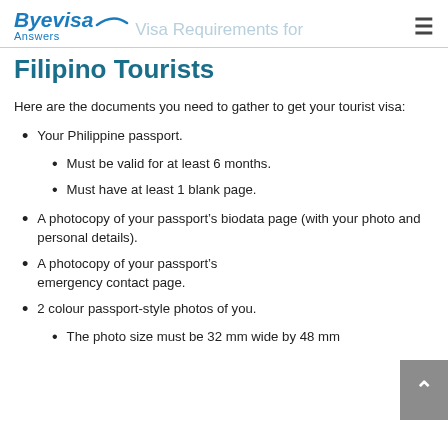Byevisa Answers — Visa Requirements for Filipino Tourists
Visa Requirements for Filipino Tourists
Here are the documents you need to gather to get your tourist visa:
Your Philippine passport.
Must be valid for at least 6 months.
Must have at least 1 blank page.
A photocopy of your passport's biodata page (with your photo and personal details).
A photocopy of your passport's emergency contact page.
2 colour passport-style photos of you.
The photo size must be 32 mm wide by 48 mm